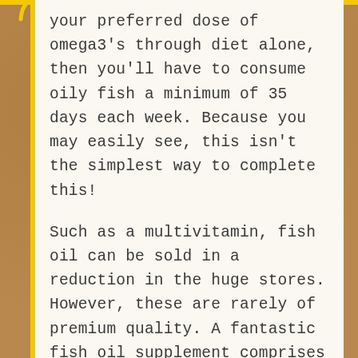your preferred dose of omega3's through diet alone, then you'll have to consume oily fish a minimum of 35 days each week. Because you may easily see, this isn't the simplest way to complete this!
Such as a multivitamin, fish oil can be sold in a reduction in the huge stores. However, these are rarely of premium quality. A fantastic fish oil supplement comprises a superior EPA/DHA ratio. With a greater proportion, they should choose a lot of tablets that aren't vital.
Today, many products are seen at the shelves of nutritional supplement stores, such as weight loss aids, vitamins/minerals amino acids, protein and